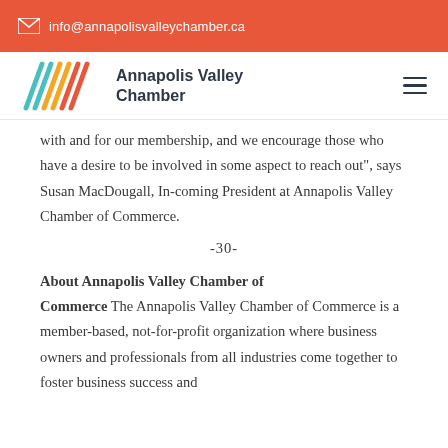info@annapolisvalleychamber.ca
[Figure (logo): Annapolis Valley Chamber logo with colorful diagonal stripes forming a 'W' shape and text 'Annapolis Valley Chamber']
with and for our membership, and we encourage those who have a desire to be involved in some aspect to reach out", says Susan MacDougall, In-coming President at Annapolis Valley Chamber of Commerce.
-30-
About Annapolis Valley Chamber of Commerce
The Annapolis Valley Chamber of Commerce is a member-based, not-for-profit organization where business owners and professionals from all industries come together to foster business success and